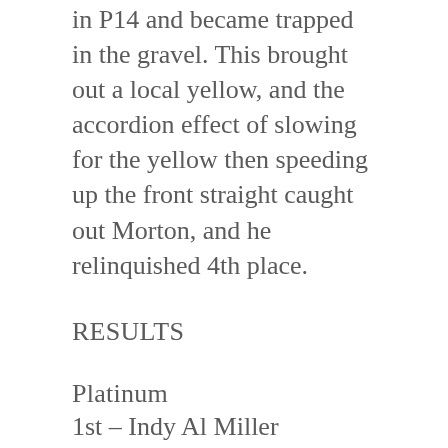in P14 and became trapped in the gravel. This brought out a local yellow, and the accordion effect of slowing for the yellow then speeding up the front straight caught out Morton, and he relinquished 4th place.
RESULTS
Platinum
1st – Indy Al Miller
2nd – Judd Miller
3rd – Jim Booth
PRO 1500
1st – Gustavo Rafols